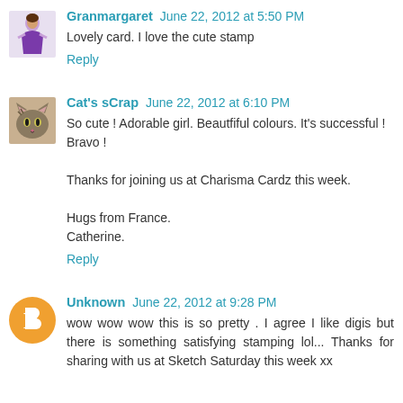[Figure (illustration): Avatar image of Granmargaret showing a woman in purple dress]
Granmargaret June 22, 2012 at 5:50 PM
Lovely card. I love the cute stamp
Reply
[Figure (photo): Avatar image of Cat's sCrap showing a cat]
Cat's sCrap June 22, 2012 at 6:10 PM
So cute ! Adorable girl. Beautfiful colours. It's successful ! Bravo !

Thanks for joining us at Charisma Cardz this week.

Hugs from France.
Catherine.
Reply
[Figure (logo): Blogger orange circle avatar with B logo for Unknown user]
Unknown June 22, 2012 at 9:28 PM
wow wow wow this is so pretty . I agree I like digis but there is something satisfying stamping lol... Thanks for sharing with us at Sketch Saturday this week xx